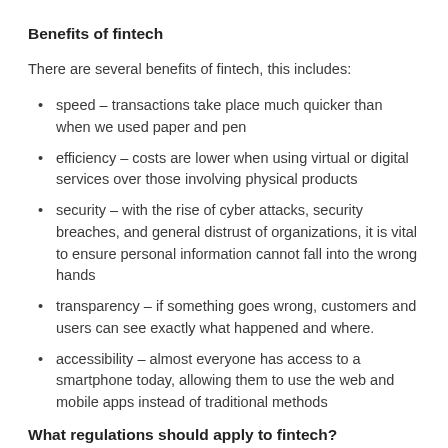Benefits of fintech
There are several benefits of fintech, this includes:
speed – transactions take place much quicker than when we used paper and pen
efficiency – costs are lower when using virtual or digital services over those involving physical products
security – with the rise of cyber attacks, security breaches, and general distrust of organizations, it is vital to ensure personal information cannot fall into the wrong hands
transparency – if something goes wrong, customers and users can see exactly what happened and where.
accessibility – almost everyone has access to a smartphone today, allowing them to use the web and mobile apps instead of traditional methods
What regulations should apply to fintech?